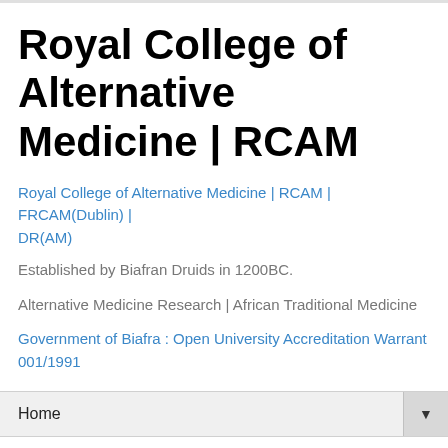Royal College of Alternative Medicine | RCAM
Royal College of Alternative Medicine | RCAM | FRCAM(Dublin) | DR(AM)
Established by Biafran Druids in 1200BC.
Alternative Medicine Research | African Traditional Medicine
Government of Biafra : Open University Accreditation Warrant 001/1991
Home
Monday, January 7, 2019
Doctor Obi
Alternative Medicine Doctor on the Loose :